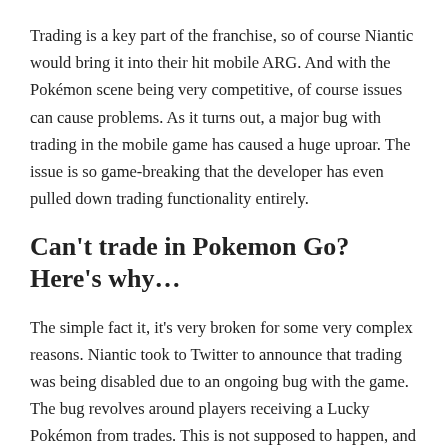Trading is a key part of the franchise, so of course Niantic would bring it into their hit mobile ARG. And with the Pokémon scene being very competitive, of course issues can cause problems. As it turns out, a major bug with trading in the mobile game has caused a huge uproar. The issue is so game-breaking that the developer has even pulled down trading functionality entirely.
Can't trade in Pokemon Go? Here's why…
The simple fact it, it's very broken for some very complex reasons. Niantic took to Twitter to announce that trading was being disabled due to an ongoing bug with the game. The bug revolves around players receiving a Lucky Pokémon from trades. This is not supposed to happen, and especially not for every single trade a player does.